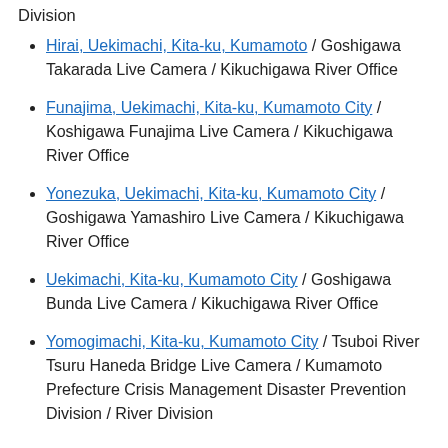Division
Hirai, Uekimachi, Kita-ku, Kumamoto / Goshigawa Takarada Live Camera / Kikuchigawa River Office
Funajima, Uekimachi, Kita-ku, Kumamoto City / Koshigawa Funajima Live Camera / Kikuchigawa River Office
Yonezuka, Uekimachi, Kita-ku, Kumamoto City / Goshigawa Yamashiro Live Camera / Kikuchigawa River Office
Uekimachi, Kita-ku, Kumamoto City / Goshigawa Bunda Live Camera / Kikuchigawa River Office
Yomogimachi, Kita-ku, Kumamoto City / Tsuboi River Tsuru Haneda Bridge Live Camera / Kumamoto Prefecture Crisis Management Disaster Prevention Division / River Division